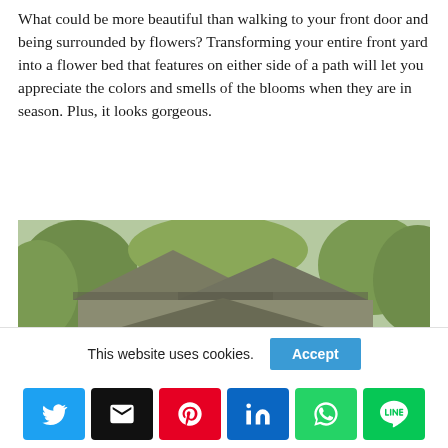What could be more beautiful than walking to your front door and being surrounded by flowers? Transforming your entire front yard into a flower bed that features on either side of a path will let you appreciate the colors and smells of the blooms when they are in season. Plus, it looks gorgeous.
[Figure (photo): Photo of a craftsman-style house with gabled roof, covered front porch with wooden door, surrounded by trees and greenery.]
This website uses cookies.
Social share buttons: Twitter, Email, Pinterest, LinkedIn, WhatsApp, LINE